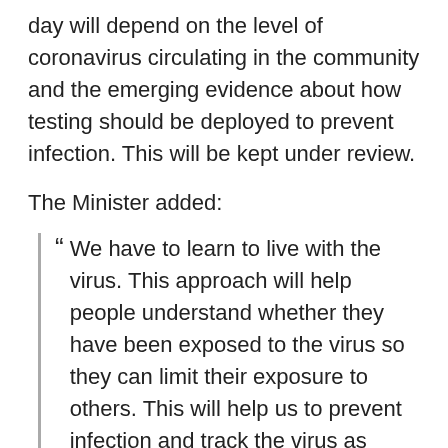day will depend on the level of coronavirus circulating in the community and the emerging evidence about how testing should be deployed to prevent infection. This will be kept under review.
The Minister added:
" We have to learn to live with the virus. This approach will help people understand whether they have been exposed to the virus so they can limit their exposure to others. This will help us to prevent infection and track the virus as restrictions are eased.
" The public will be our most important partners. It is only through their willingness to report their symptoms, identify their contacts and follow the advice to self-isolate if they have symptoms that we will be able to